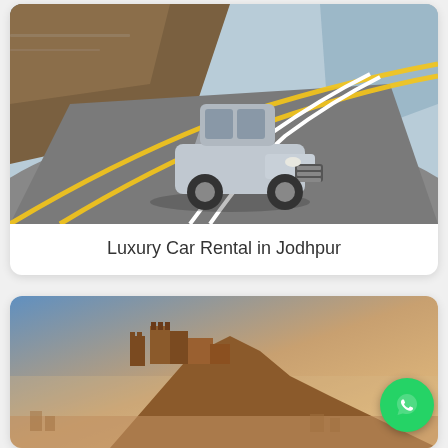[Figure (photo): A silver luxury car (Cadillac ATS) driving fast around a curved road with motion blur, against a hillside background]
Luxury Car Rental in Jodhpur
[Figure (photo): A sunset or dusk view of a hilltop fort (Mehrangarh Fort, Jodhpur) with the city spread below, warm golden sky]
[Figure (illustration): Green WhatsApp floating action button with white phone/chat icon]